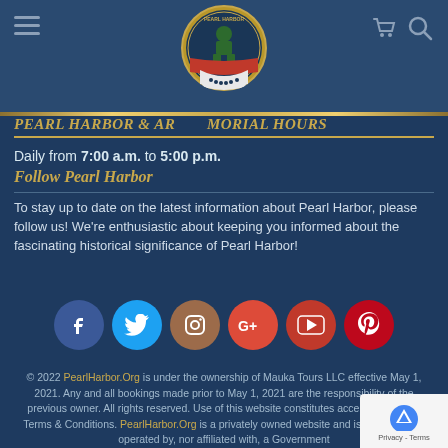Navigation header with hamburger menu, Pearl Harbor logo, cart and search icons
PEARL HARBOR & ARIZONA MEMORIAL HOURS
Daily from 7:00 a.m. to 5:00 p.m.
Follow Pearl Harbor
To stay up to date on the latest information about Pearl Harbor, please follow us! We're enthusiastic about keeping you informed about the fascinating historical significance of Pearl Harbor!
[Figure (infographic): Six social media icon circles: Facebook (blue), Twitter (cyan), Instagram (brown), Google+ (red-orange), YouTube (red), Pinterest (red)]
© 2022 PearlHarbor.Org is under the ownership of Mauka Tours LLC effective May 1, 2021. Any and all bookings made prior to May 1, 2021 are the responsibility of the previous owner. All rights reserved. Use of this website constitutes acceptance of our Terms & Conditions. PearlHarbor.Org is a privately owned website and is not owned or operated by, nor affiliated with, a Government